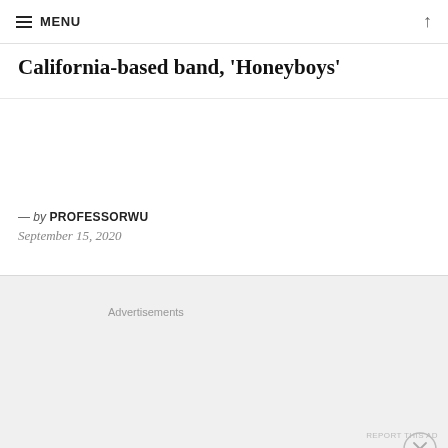≡ MENU
California-based band, 'Honeyboys'
— by PROFESSORWU
September 15, 2020
Advertisements
Advertisements
REPORT THIS AD